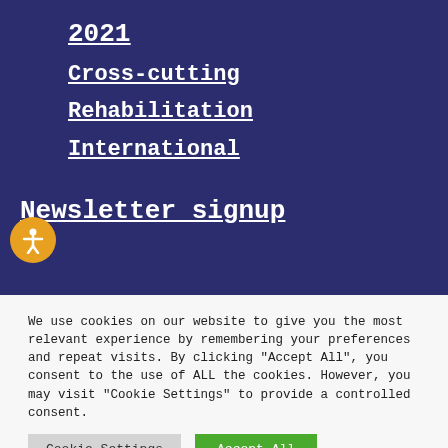2021
Cross-cutting
Rehabilitation
International
Newsletter signup
We use cookies on our website to give you the most relevant experience by remembering your preferences and repeat visits. By clicking “Accept All”, you consent to the use of ALL the cookies. However, you may visit “Cookie Settings” to provide a controlled consent.
Cookie Settings
Accept All